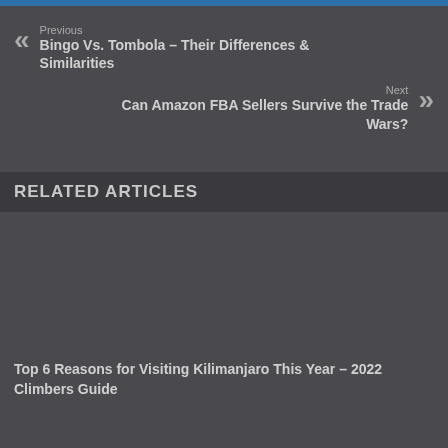Previous
Bingo Vs. Tombola – Their Differences & Similarities
Next
Can Amazon FBA Sellers Survive the Trade Wars?
RELATED ARTICLES
Top 6 Reasons for Visiting Kilimanjaro This Year – 2022 Climbers Guide